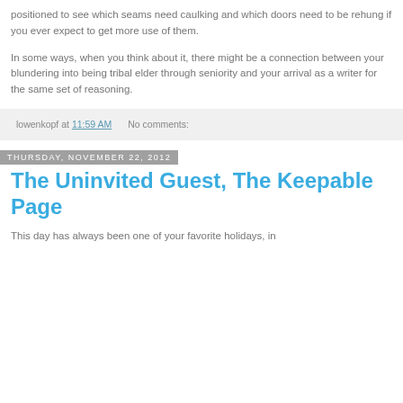positioned to see which seams need caulking and which doors need to be rehung if you ever expect to get more use of them.

In some ways, when you think about it, there might be a connection between your blundering into being tribal elder through seniority and your arrival as a writer for the same set of reasoning.
lowenkopf at 11:59 AM   No comments:
Thursday, November 22, 2012
The Uninvited Guest, The Keepable Page
This day has always been one of your favorite holidays, in